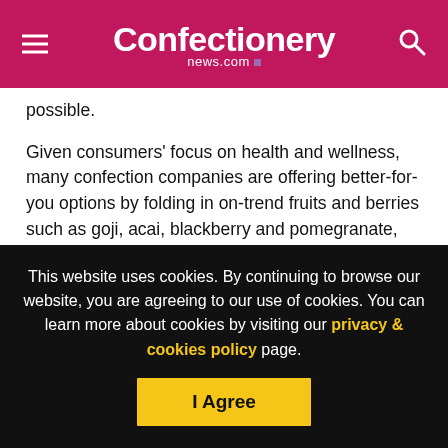Confectionery news.com
possible.
Given consumers' focus on health and wellness, many confection companies are offering better-for-you options by folding in on-trend fruits and berries such as goji, acai, blackberry and pomegranate, and boosting protein with nut and seed inclusions, including trendy hazelnuts, pistachios and almonds.
A related benefit area that “is rich with potential” is calling out
This website uses cookies. By continuing to browse our website, you are agreeing to our use of cookies. You can learn more about cookies by visiting our privacy & cookies policy page.
I Agree